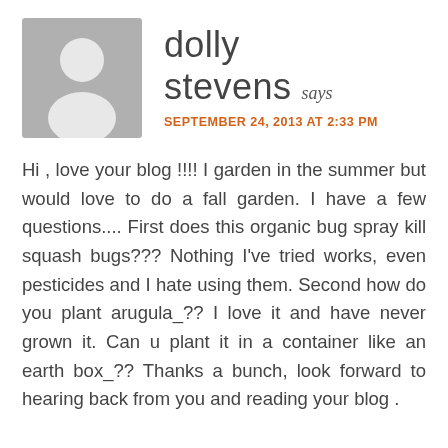[Figure (illustration): Generic user avatar placeholder: gray square with white silhouette of a person (circle head and rounded shoulders)]
dolly stevens says
SEPTEMBER 24, 2013 AT 2:33 PM
Hi , love your blog !!!! I garden in the summer but would love to do a fall garden. I have a few questions.... First does this organic bug spray kill squash bugs??? Nothing I've tried works, even pesticides and I hate using them. Second how do you plant arugula_?? I love it and have never grown it. Can u plant it in a container like an earth box_?? Thanks a bunch, look forward to hearing back from you and reading your blog .